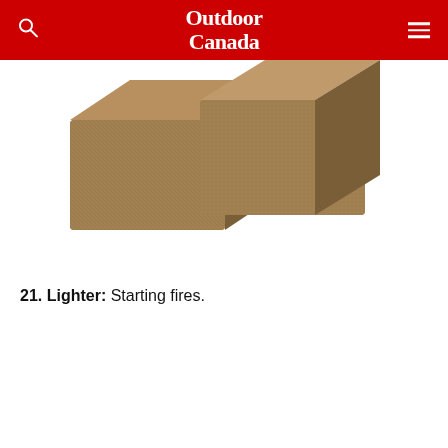Outdoor Canada
[Figure (photo): Two rectangular compressed fiber/tinder fire-starting blocks (natural brown fibrous material) against a white background, viewed slightly from above at an angle.]
21. Lighter: Starting fires.